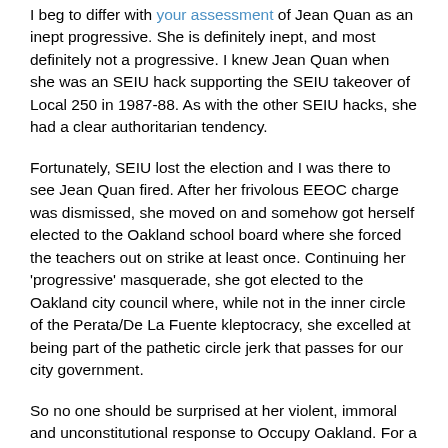I beg to differ with your assessment of Jean Quan as an inept progressive. She is definitely inept, and most definitely not a progressive. I knew Jean Quan when she was an SEIU hack supporting the SEIU takeover of Local 250 in 1987-88. As with the other SEIU hacks, she had a clear authoritarian tendency.
Fortunately, SEIU lost the election and I was there to see Jean Quan fired. After her frivolous EEOC charge was dismissed, she moved on and somehow got herself elected to the Oakland school board where she forced the teachers out on strike at least once. Continuing her 'progressive' masquerade, she got elected to the Oakland city council where, while not in the inner circle of the Perata/De La Fuente kleptocracy, she excelled at being part of the pathetic circle jerk that passes for our city government.
So no one should be surprised at her violent, immoral and unconstitutional response to Occupy Oakland. For a brief moment there, she forgot her 'progressive' charade and succumbed to her authoritarian nature and did what comes naturally. It was only after she became an object of national ridicule that she backed off a bit.
Ultimately, she was never going to say no to her corporate paymasters over at the Chamber of Commerce, and Occupy Oakland will continue to be under attack as long as this pathetic hack remains our mayor. I'm on board for the recall!